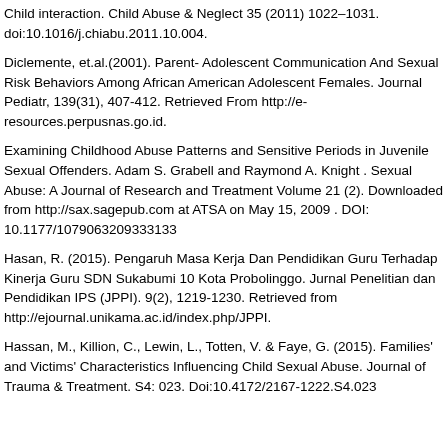Child interaction. Child Abuse & Neglect 35 (2011) 1022–1031. doi:10.1016/j.chiabu.2011.10.004.
Diclemente, et.al.(2001). Parent- Adolescent Communication And Sexual Risk Behaviors Among African American Adolescent Females. Journal Pediatr, 139(31), 407-412. Retrieved From http://e- resources.perpusnas.go.id.
Examining Childhood Abuse Patterns and Sensitive Periods in Juvenile Sexual Offenders. Adam S. Grabell and Raymond A. Knight . Sexual Abuse: A Journal of Research and Treatment Volume 21 (2). Downloaded from http://sax.sagepub.com at ATSA on May 15, 2009 . DOI: 10.1177/1079063209333133
Hasan, R. (2015). Pengaruh Masa Kerja Dan Pendidikan Guru Terhadap Kinerja Guru SDN Sukabumi 10 Kota Probolinggo. Jurnal Penelitian dan Pendidikan IPS (JPPI). 9(2), 1219-1230. Retrieved from http://ejournal.unikama.ac.id/index.php/JPPI.
Hassan, M., Killion, C., Lewin, L., Totten, V. & Faye, G. (2015). Families' and Victims' Characteristics Influencing Child Sexual Abuse. Journal of Trauma & Treatment. S4: 023. Doi:10.4172/2167-1222.S4.023